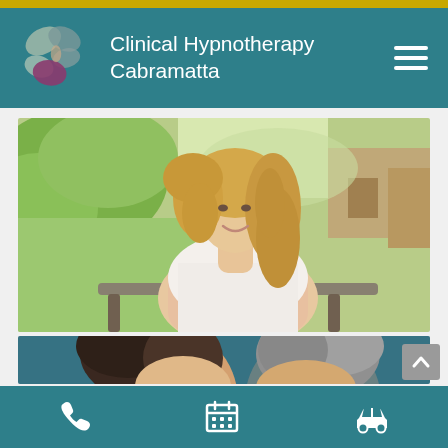Clinical Hypnotherapy Cabramatta
[Figure (photo): Smiling blonde woman sitting outdoors on a bench, wearing white sleeveless top, with green garden background]
[Figure (photo): Couple (woman and man with grey hair) against a teal/blue background, heads visible]
Phone | Calendar | Car icons navigation toolbar